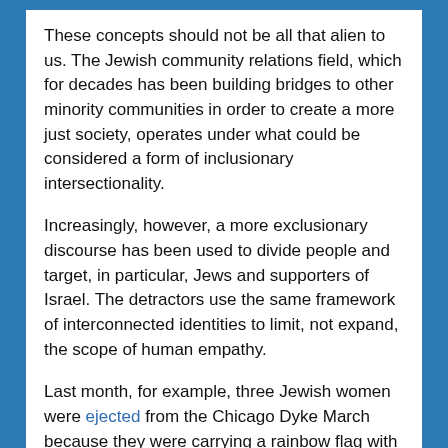These concepts should not be all that alien to us. The Jewish community relations field, which for decades has been building bridges to other minority communities in order to create a more just society, operates under what could be considered a form of inclusionary intersectionality.
Increasingly, however, a more exclusionary discourse has been used to divide people and target, in particular, Jews and supporters of Israel. The detractors use the same framework of interconnected identities to limit, not expand, the scope of human empathy.
Last month, for example, three Jewish women were ejected from the Chicago Dyke March because they were carrying a rainbow flag with a Jewish star on it. One of the women said she was told by a march organizer “your flag looks too much like Israeli flags because of the star, and that it is triggering to people